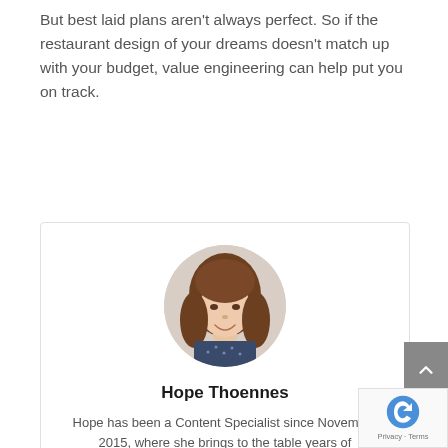But best laid plans aren't always perfect. So if the restaurant design of your dreams doesn't match up with your budget, value engineering can help put you on track.
[Figure (photo): Circular headshot photo of a young woman with long brown hair, smiling, against a light background.]
Hope Thoennes
Hope has been a Content Specialist since November 2015, where she brings to the table years of experience in the food service industry a variety of roles. Throughout her time with Central, Hope has focused on learning all things possible about everything from cooking...